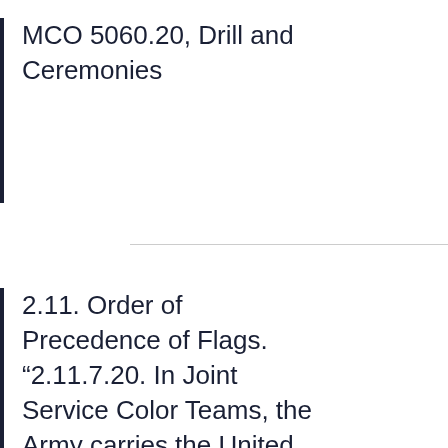MCO 5060.20, Drill and Ceremonies
2.11. Order of Precedence of Flags. “2.11.7.20. In Joint Service Color Teams, the Army carries the United States Flag and commands the color team as the senior Service. The